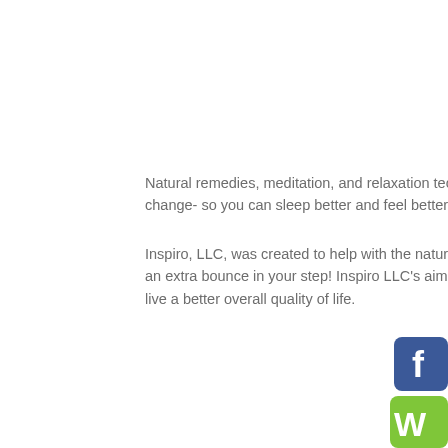Natural remedies, meditation, and relaxation techniques that go beyond a lifestyle change- so you can sleep better and feel better! In...
Inspiro, LLC, was created to help with the natural... an extra bounce in your step! Inspiro LLC's aim is... live a better overall quality of life.
[Figure (logo): Facebook logo icon (blue with white 'f') partially visible at bottom-right corner]
[Figure (logo): Yelp logo icon (green with white 'W') partially visible at bottom-right corner]